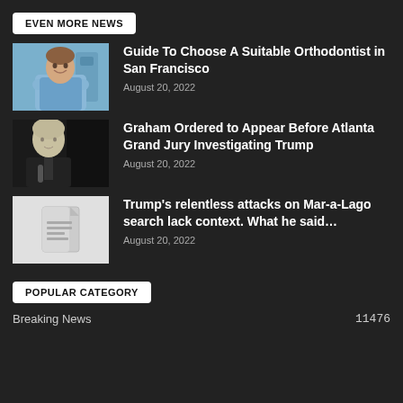EVEN MORE NEWS
[Figure (photo): A smiling doctor in blue scrubs with arms crossed in a medical office]
Guide To Choose A Suitable Orthodontist in San Francisco
August 20, 2022
[Figure (photo): An older man in a suit speaking at a podium]
Graham Ordered to Appear Before Atlanta Grand Jury Investigating Trump
August 20, 2022
[Figure (photo): Placeholder image with document icon]
Trump’s relentless attacks on Mar-a-Lago search lack context. What he said…
August 20, 2022
POPULAR CATEGORY
Breaking News
11476